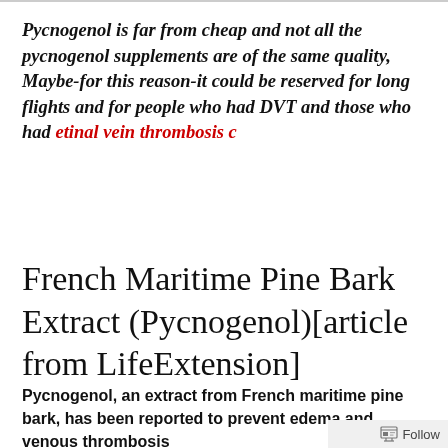Pycnogenol is far from cheap and not all the pycnogenol supplements are of the same quality, Maybe-for this reason-it could be reserved for long flights and for people who had DVT and those who had etinal vein thrombosis c
French Maritime Pine Bark Extract (Pycnogenol)[article from LifeExtension]
Pycnogenol, an extract from French maritime pine bark, has been reported to prevent edema and venous thrombosis